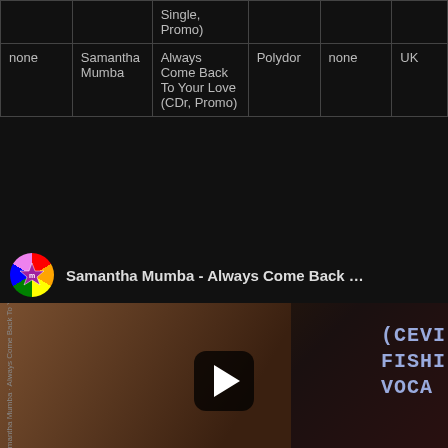|  |  | (Single, Promo) |  |  |  |
| --- | --- | --- | --- | --- | --- |
| none | Samantha Mumba | Always Come Back To Your Love (CDr, Promo) | Polydor | none | UK |
[Figure (screenshot): YouTube video thumbnail for 'Samantha Mumba - Always Come Back ...' showing a woman with long hair and text overlays reading (CEVI, FISHI, VOCA) on the right side, with a play button in the center. Channel icon is a rainbow star logo.]